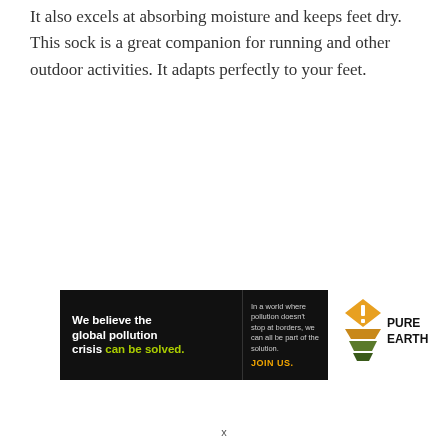It also excels at absorbing moisture and keeps feet dry.  This sock is a great companion for running and other outdoor activities. It adapts perfectly to your feet.
[Figure (infographic): Advertisement banner for Pure Earth. Left black section reads 'We believe the global pollution crisis can be solved.' Right black section reads 'In a world where pollution doesn't stop at borders, we can all be part of the solution. JOIN US.' Logo section shows Pure Earth diamond logo with stacked chevron design in orange/yellow/green and text PURE EARTH.]
x